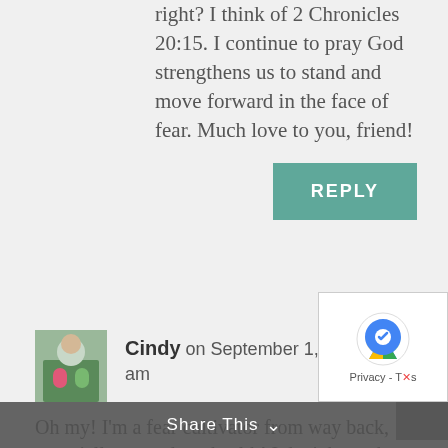right? I think of 2 Chronicles 20:15. I continue to pray God strengthens us to stand and move forward in the face of fear. Much love to you, friend!
REPLY
Cindy on September 1, 2018 at 8:09 am
Oh my! I'm a fear cultivator from way back, especially around my health! I don't know how many times I have
Share This